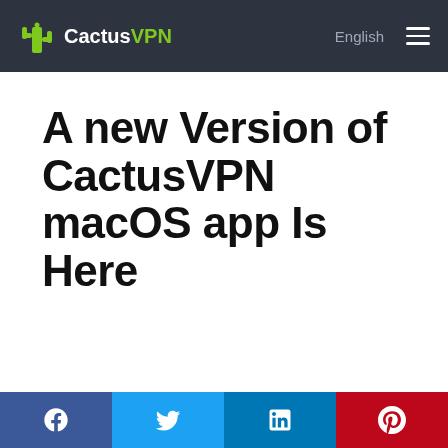CactusVPN | English
A new Version of CactusVPN macOS app Is Here
[Figure (screenshot): CactusVPN macOS app screenshot showing two overlapping app windows with Connection, Settings, Apps Killer, and Support tabs; location selector showing Los Angeles with US flag]
Facebook | Twitter | LinkedIn | Pinterest social share buttons